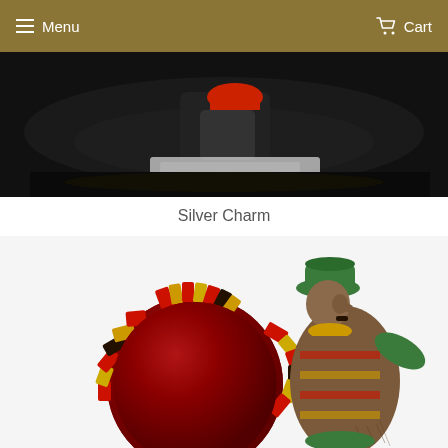Menu   Cart
[Figure (photo): Dark background photo showing a colorful figurine/charm at top, with red and yellow decorative elements visible against a black background]
Silver Charm
[Figure (photo): Close-up photo of a carved wooden folk art brooch/charm depicting a man wearing a green hat and coat, holding or accompanied by a large round red Bakelite disc with red, yellow and black striped ruffled border. The figure is carved wood with painted details.]